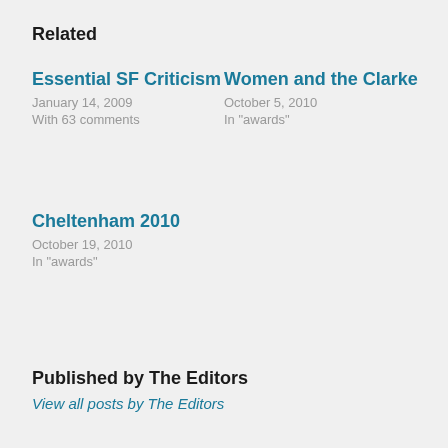Related
Essential SF Criticism
January 14, 2009
With 63 comments
Women and the Clarke
October 5, 2010
In "awards"
Cheltenham 2010
October 19, 2010
In "awards"
Published by The Editors
View all posts by The Editors